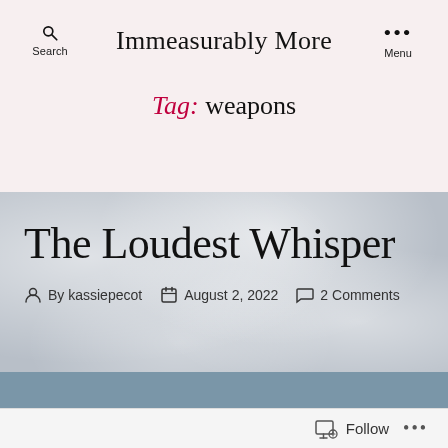Immeasurably More
Tag: weapons
The Loudest Whisper
By kassiepecot  August 2, 2022  2 Comments